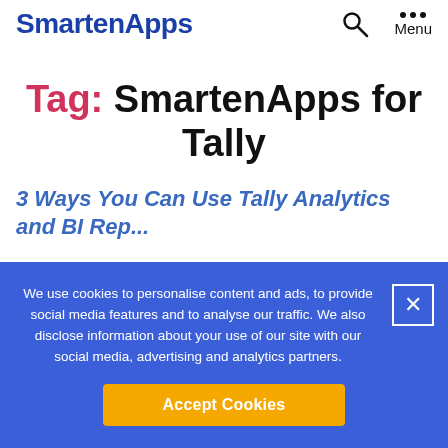SmartenApps
Tag: SmartenApps for Tally
3 Ways You Can Use Tally Analytics and BI Rep...
We use cookies to personalise content and ads, to provide social media features and to analyse our traffic. We also disclose information about your use of our site with our social media, advertising and analytics partners.